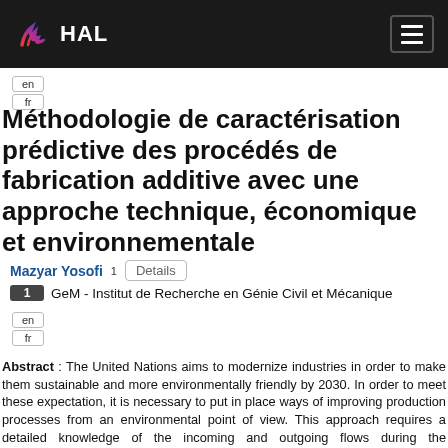HAL
Méthodologie de caractérisation prédictive des procédés de fabrication additive avec une approche technique, économique et environnementale
Mazyar Yosofi 1   Details
1  GeM - Institut de Recherche en Génie Civil et Mécanique
Abstract : The United Nations aims to modernize industries in order to make them sustainable and more environmentally friendly by 2030. In order to meet these expectation, it is necessary to put in place ways of improving production processes from an environmental point of view. This approach requires a detailed knowledge of the incoming and outgoing flows during the manufacturing of a product. However, this is not the case for additive manufacturing processes where the